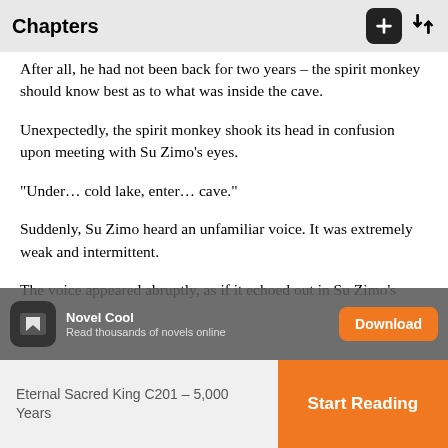Chapters
After all, he had not been back for two years – the spirit monkey should know best as to what was inside the cave.
Unexpectedly, the spirit monkey shook its head in confusion upon meeting with Su Zimo's eyes.
“Under… cold lake, enter… cave.”
Suddenly, Su Zimo heard an unfamiliar voice. It was extremely weak and intermittent.
The voice appeared abruptly, as if it echoed out in Su Zimo's mind!
Was there someone within the cave?
Was he under the cold lake?
Was this some sort of trick?
Eternal Sacred King C201 – 5,000 Years | Start Reading